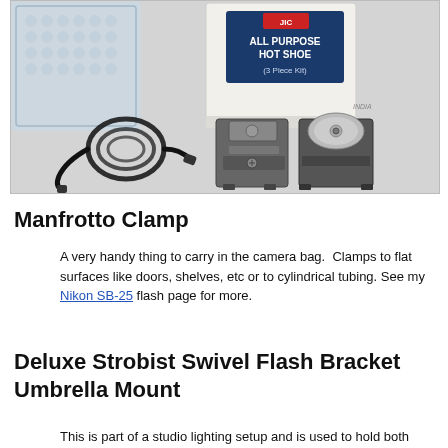[Figure (photo): Product photo of an 'All Purpose Hot Shoe (3 Piece Kit)' in its box, with contents including a coiled sync cable, a hot shoe adapter/mount, and a hot shoe with tripod screw plate, on a gray surface.]
Manfrotto Clamp
A very handy thing to carry in the camera bag.  Clamps to flat surfaces like doors, shelves, etc or to cylindrical tubing. See my Nikon SB-25 flash page for more.
Deluxe Strobist Swivel Flash Bracket Umbrella Mount
This is part of a studio lighting setup and is used to hold both